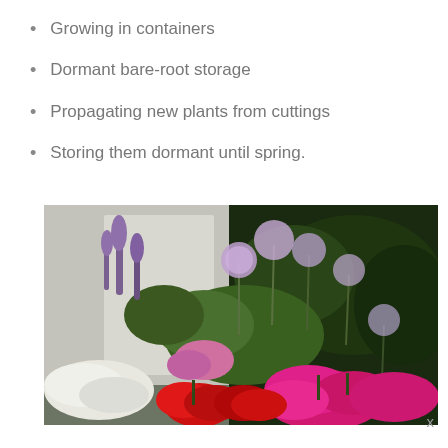Growing in containers
Dormant bare-root storage
Propagating new plants from cuttings
Storing them dormant until spring.
[Figure (photo): A garden border scene with colourful flowers including red and pink geraniums/pelargoniums in the foreground, purple alliums and lavender in the mid-ground, white alyssum, and dark green shrubs in the background beside a white painted wall.]